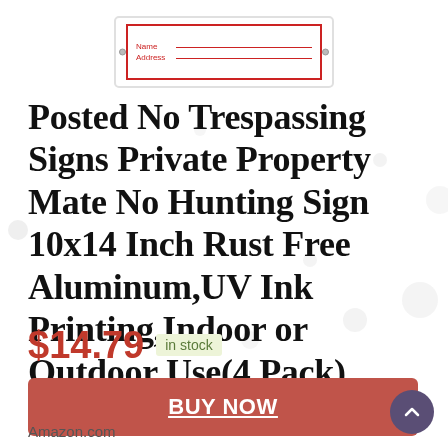[Figure (photo): Partial view of a no trespassing sign with red border, showing Name and Address lines]
Posted No Trespassing Signs Private Property Mate No Hunting Sign 10x14 Inch Rust Free Aluminum,UV Ink Printing,Indoor or Outdoor Use(4 Pack)
$14.79 in stock
BUY NOW
Amazon.com